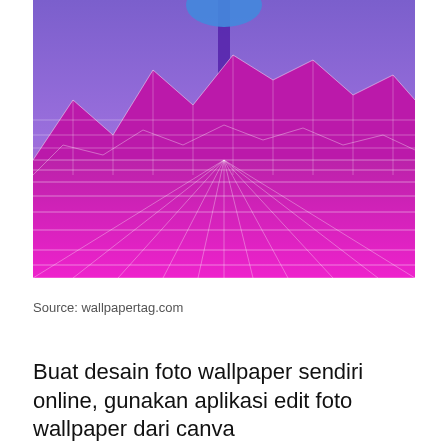[Figure (illustration): Vaporwave-style digital illustration showing a wireframe 3D landscape with magenta/pink mountains and a purple sky, with a dark tree trunk visible at the top center. The terrain is overlaid with a white grid mesh creating a retro synthwave aesthetic.]
Source: wallpapertag.com
Buat desain foto wallpaper sendiri online, gunakan aplikasi edit foto wallpaper dari canva